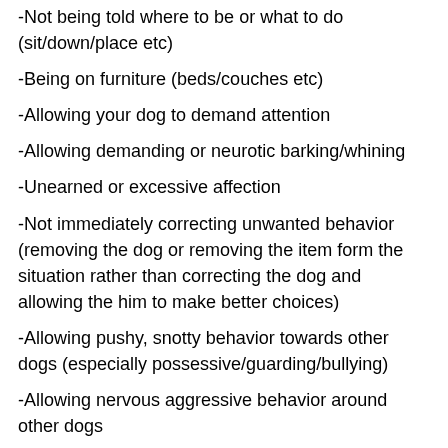-Not being told where to be or what to do (sit/down/place etc)
-Being on furniture (beds/couches etc)
-Allowing your dog to demand attention
-Allowing demanding or neurotic barking/whining
-Unearned or excessive affection
-Not immediately correcting unwanted behavior (removing the dog or removing the item form the situation rather than correcting the dog and allowing the him to make better choices)
-Allowing pushy, snotty behavior towards other dogs (especially possessive/guarding/bullying)
-Allowing nervous aggressive behavior around other dogs